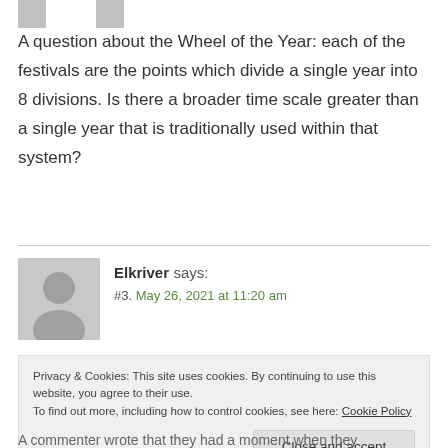[Figure (illustration): Two small gray icon placeholders at the top left of the page]
A question about the Wheel of the Year: each of the festivals are the points which divide a single year into 8 divisions. Is there a broader time scale greater than a single year that is traditionally used within that system?
Elkriver says:
#3. May 26, 2021 at 11:20 am
Privacy & Cookies: This site uses cookies. By continuing to use this website, you agree to their use.
To find out more, including how to control cookies, see here: Cookie Policy
Close and accept
A commenter wrote that they had a moment when they